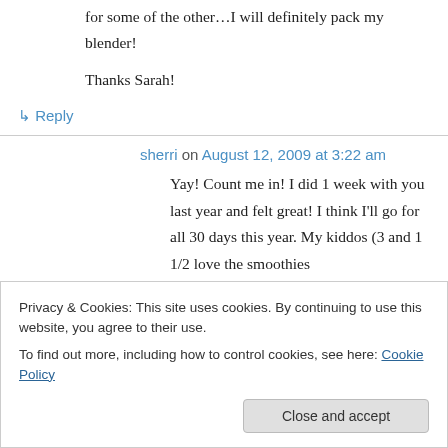for some of the other…I will definitely pack my blender!

Thanks Sarah!
↳ Reply
sherri on August 12, 2009 at 3:22 am
Yay! Count me in! I did 1 week with you last year and felt great! I think I'll go for all 30 days this year. My kiddos (3 and 1 1/2 love the smoothies
Privacy & Cookies: This site uses cookies. By continuing to use this website, you agree to their use.
To find out more, including how to control cookies, see here: Cookie Policy
Close and accept